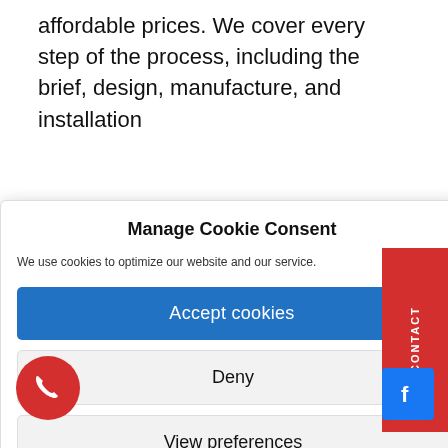affordable prices. We cover every step of the process, including the brief, design, manufacture, and installation
Manage Cookie Consent
We use cookies to optimize our website and our service.
Accept cookies
Deny
View preferences
CONTACT
product that meets and exceeds your expectations.
GET IN TOUCH TODAY